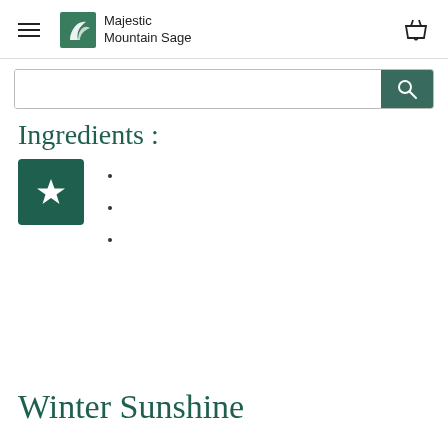Majestic Mountain Sage
Ingredients :
Winter Sunshine